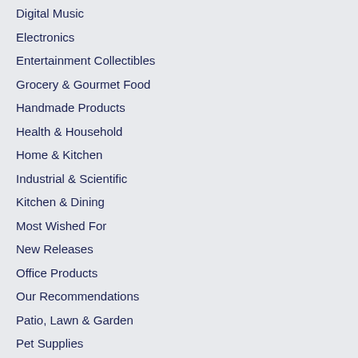Digital Music
Electronics
Entertainment Collectibles
Grocery & Gourmet Food
Handmade Products
Health & Household
Home & Kitchen
Industrial & Scientific
Kitchen & Dining
Most Wished For
New Releases
Office Products
Our Recommendations
Patio, Lawn & Garden
Pet Supplies